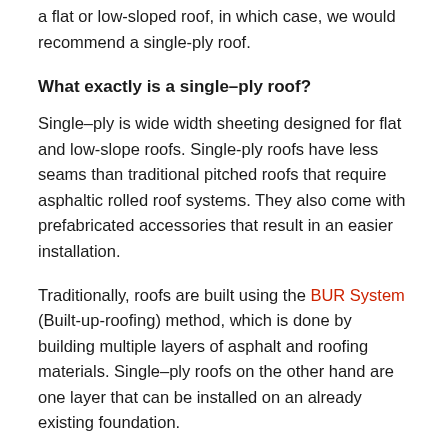a flat or low-sloped roof, in which case, we would recommend a single-ply roof.
What exactly is a single–ply roof?
Single–ply is wide width sheeting designed for flat and low-slope roofs. Single-ply roofs have less seams than traditional pitched roofs that require asphaltic rolled roof systems. They also come with prefabricated accessories that result in an easier installation.
Traditionally, roofs are built using the BUR System (Built-up-roofing) method, which is done by building multiple layers of asphalt and roofing materials. Single–ply roofs on the other hand are one layer that can be installed on an already existing foundation.
Single-ply roofs have many benefits including durability, reduced installation time and they are eco-friendly. There are